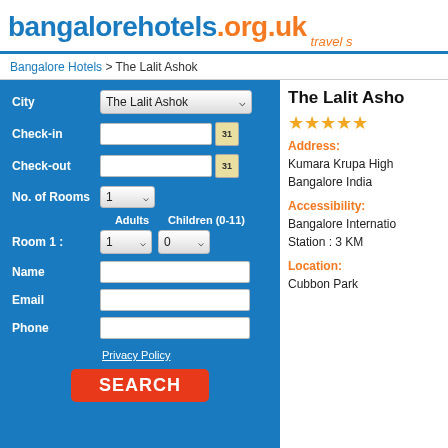bangalorehotels.org.uk travel s
Bangalore Hotels > The Lalit Ashok
The Lalit Ashok
★★★★★
Address: Kumara Krupa High Bangalore India
Accessibility: Bangalore Internatio Station : 3 KM
Location: Cubbon Park
[Figure (screenshot): Hotel booking form with City dropdown (The Lalit Ashok), Check-in, Check-out date fields, No. of Rooms (1), Room 1 Adults (1) Children 0-11 (0), Name, Email, Phone fields, Privacy Policy link, and SEARCH button on blue background.]